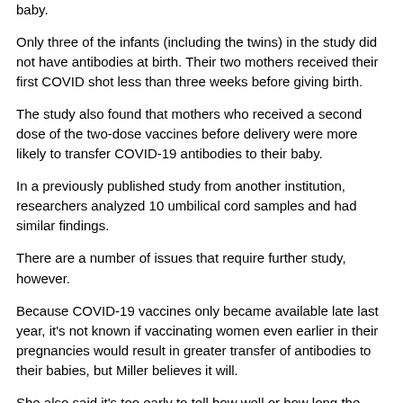baby.
Only three of the infants (including the twins) in the study did not have antibodies at birth. Their two mothers received their first COVID shot less than three weeks before giving birth.
The study also found that mothers who received a second dose of the two-dose vaccines before delivery were more likely to transfer COVID-19 antibodies to their baby.
In a previously published study from another institution, researchers analyzed 10 umbilical cord samples and had similar findings.
There are a number of issues that require further study, however.
Because COVID-19 vaccines only became available late last year, it's not known if vaccinating women even earlier in their pregnancies would result in greater transfer of antibodies to their babies, but Miller believes it will.
She also said it's too early to tell how well or how long the antibodies transferred from mothers to babies will protect babies after delivery.
It's also unclear how pregnancy complications could affect the transfer of antibodies from vaccinated mothers to their babies.